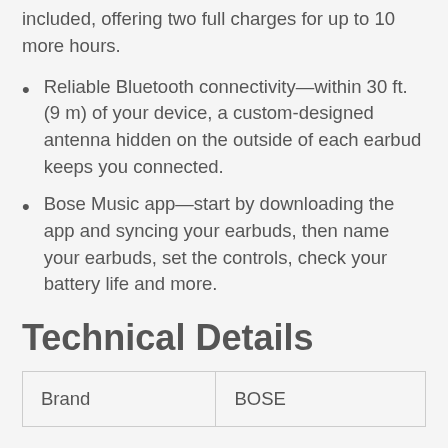Up to 5 hours battery life — charging case included, offering two full charges for up to 10 more hours.
Reliable Bluetooth connectivity—within 30 ft. (9 m) of your device, a custom-designed antenna hidden on the outside of each earbud keeps you connected.
Bose Music app—start by downloading the app and syncing your earbuds, then name your earbuds, set the controls, check your battery life and more.
Technical Details
| Brand | BOSE |
| --- | --- |
| Brand | BOSE |